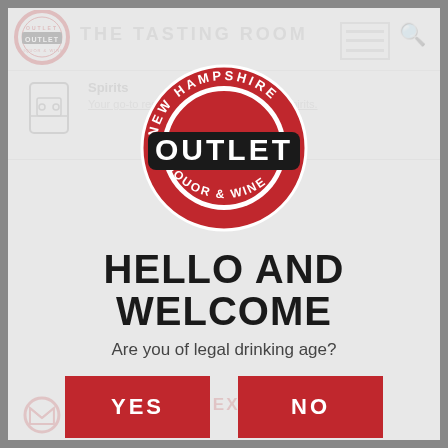[Figure (logo): New Hampshire Outlet Liquor & Wine circular stamp logo in red and black]
HELLO AND WELCOME
Are you of legal drinking age?
YES
NO
By entering this website you agree that you are legally eligible to view the content of the website and are of legal drinking age.